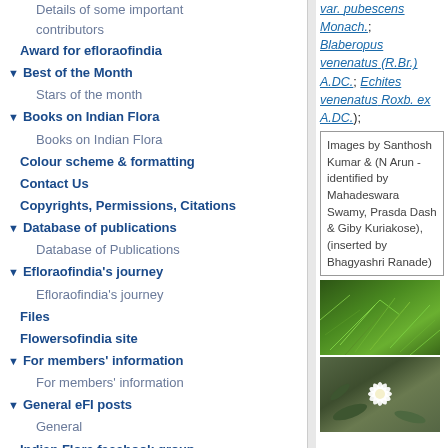Details of some important contributors
Award for efloraofindia
Best of the Month
Stars of the month
Books on Indian Flora
Books on Indian Flora
Colour scheme & formatting
Contact Us
Copyrights, Permissions, Citations
Database of publications
Database of Publications
Efloraofindia's journey
Efloraofindia's journey
Files
Flowersofindia site
For members' information
For members' information
General eFI posts
General
Indian Flora facebook group
Names of Plants in India site
Pitamah of efloraofindia
var. pubescens Monach.; Blaberopus venenatus (R.Br.) A.DC.; Echites venenatus Roxb. ex A.DC.);
Images by Santhosh Kumar & (N Arun - identified by Mahadeswara Swamy, Prasda Dash & Giby Kuriakose), (inserted by Bhagyashri Ranade)
[Figure (photo): Photo of a plant with fine green foliage/fern-like leaves]
[Figure (photo): Photo of a white star-shaped flower with green leaves]